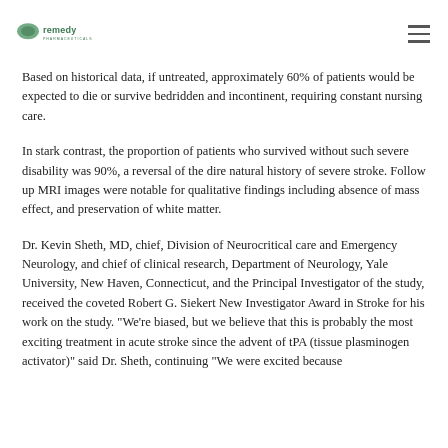Remedy Pharmaceuticals logo and navigation menu
Based on historical data, if untreated, approximately 60% of patients would be expected to die or survive bedridden and incontinent, requiring constant nursing care.
In stark contrast, the proportion of patients who survived without such severe disability was 90%, a reversal of the dire natural history of severe stroke. Follow up MRI images were notable for qualitative findings including absence of mass effect, and preservation of white matter.
Dr. Kevin Sheth, MD, chief, Division of Neurocritical care and Emergency Neurology, and chief of clinical research, Department of Neurology, Yale University, New Haven, Connecticut, and the Principal Investigator of the study, received the coveted Robert G. Siekert New Investigator Award in Stroke for his work on the study. "We're biased, but we believe that this is probably the most exciting treatment in acute stroke since the advent of tPA (tissue plasminogen activator)" said Dr. Sheth, continuing "We were excited because